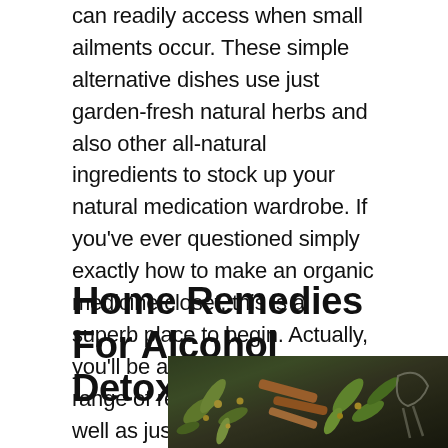can readily access when small ailments occur. These simple alternative dishes use just garden-fresh natural herbs and also other all-natural ingredients to stock up your natural medication wardrobe. If you've ever questioned simply exactly how to make an organic medicine closet, this is a superb place to begin. Actually, you'll be astonished at the range of remedies offered, as well as just exactly how swiftly you can create your very own self-made medication closet.
Home Remedies For Alcohol Detox
[Figure (photo): Overhead view of herbs, flowers, orange/cinnamon sticks, and garden tools on a dark slate background]